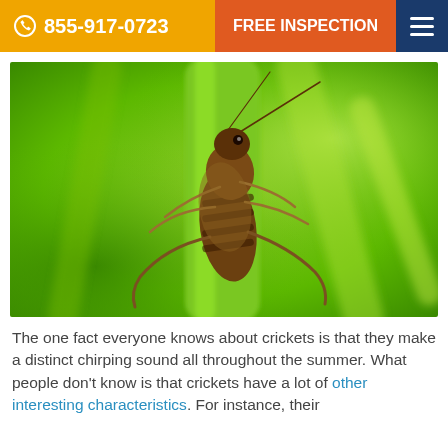☏ 855-917-0723  FREE INSPECTION  ≡
[Figure (photo): Close-up macro photograph of a cricket clinging to a green plant stem, with a blurred green background.]
The one fact everyone knows about crickets is that they make a distinct chirping sound all throughout the summer. What people don't know is that crickets have a lot of other interesting characteristics. For instance, their